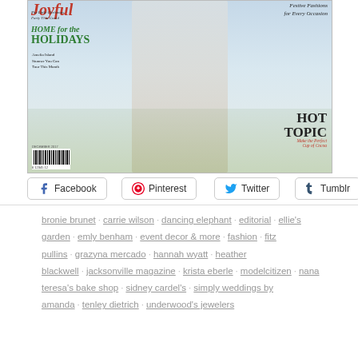[Figure (photo): Magazine cover showing a holiday-themed issue with a hot cocoa drink, pine cones, and evergreen branches. Text on the cover includes 'HOME for the HOLIDAYS', 'Amelia Island Stunner You Can Tour This Month', 'HOT TOPIC Make the Perfect Cup of Cocoa', 'Festive Fashions for Every Occasion', 'DECEMBER 2017', and a barcode.]
Facebook
Pinterest
Twitter
Tumblr
bronie brunet  carrie wilson  dancing elephant  editorial  ellie's garden  emly benham  event decor & more  fashion  fitz pullins  grazyna mercado  hannah wyatt  heather blackwell  jacksonville magazine  krista eberle  modelcitizen  nana teresa's bake shop  sidney cardel's  simply weddings by amanda  tenley dietrich  underwood's jewelers